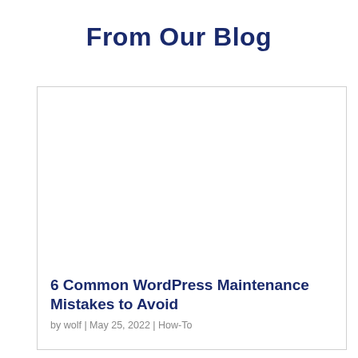From Our Blog
[Figure (screenshot): Blog post card with white image placeholder area]
6 Common WordPress Maintenance Mistakes to Avoid
by wolf | May 25, 2022 | How-To